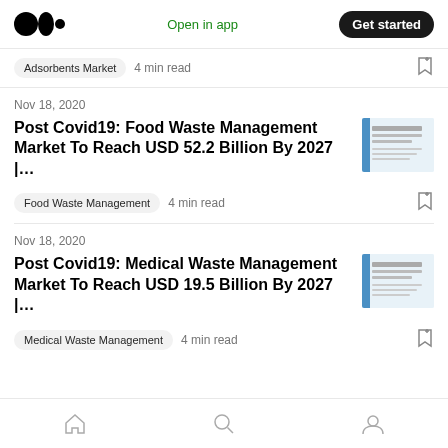Medium logo | Open in app | Get started
Adsorbents Market   4 min read
Nov 18, 2020
Post Covid19: Food Waste Management Market To Reach USD 52.2 Billion By 2027 |…
Food Waste Management   4 min read
Nov 18, 2020
Post Covid19: Medical Waste Management Market To Reach USD 19.5 Billion By 2027 |…
Medical Waste Management   4 min read
Home | Search | Profile